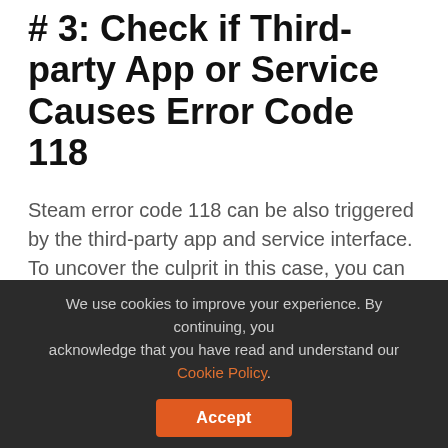# 3: Check if Third-party App or Service Causes Error Code 118
Steam error code 118 can be also triggered by the third-party app and service interface. To uncover the culprit in this case, you can follow the tutorial below.
Step 1: Type System Configuration in Cortana's search bar and then select the search result.
Step 2: Switch to the Services tab on the System Configuration and then untick the Hide all
We use cookies to improve your experience. By continuing, you acknowledge that you have read and understand our Cookie Policy.
Accept